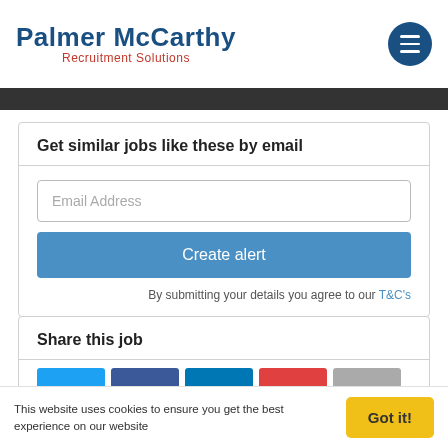[Figure (logo): Palmer McCarthy Recruitment Solutions logo with dark blue text and red subtitle, and a hamburger menu circle icon on the right]
Get similar jobs like these by email
Email Address
Create alert
By submitting your details you agree to our T&C's
Share this job
[Figure (infographic): Row of social sharing buttons: cyan (Twitter), dark blue (Facebook), blue (LinkedIn), red, and gray]
This website uses cookies to ensure you get the best experience on our website